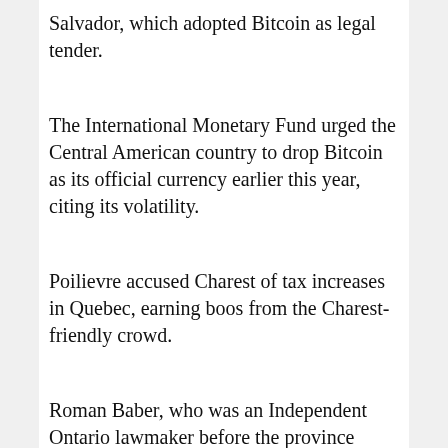Salvador, which adopted Bitcoin as legal tender.
The International Monetary Fund urged the Central American country to drop Bitcoin as its official currency earlier this year, citing its volatility.
Poilievre accused Charest of tax increases in Quebec, earning boos from the Charest-friendly crowd.
Roman Baber, who was an Independent Ontario lawmaker before the province headed into an election, also admitted he struggles in French.
“I know it’s very important for a prime minister to speak both languages,” he said, adding he’s had